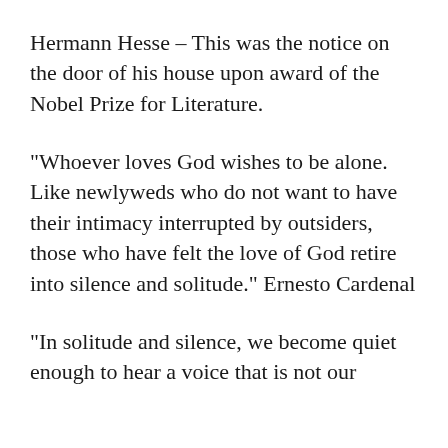Hermann Hesse – This was the notice on the door of his house upon award of the Nobel Prize for Literature.
“Whoever loves God wishes to be alone. Like newlyweds who do not want to have their intimacy interrupted by outsiders, those who have felt the love of God retire into silence and solitude.” Ernesto Cardenal
“In solitude and silence, we become quiet enough to hear a voice that is not our